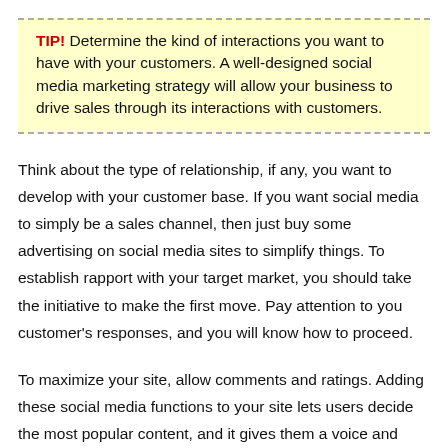TIP! Determine the kind of interactions you want to have with your customers. A well-designed social media marketing strategy will allow your business to drive sales through its interactions with customers.
Think about the type of relationship, if any, you want to develop with your customer base. If you want social media to simply be a sales channel, then just buy some advertising on social media sites to simplify things. To establish rapport with your target market, you should take the initiative to make the first move. Pay attention to you customer's responses, and you will know how to proceed.
To maximize your site, allow comments and ratings. Adding these social media functions to your site lets users decide the most popular content, and it gives them a voice and also makes them an active participant.